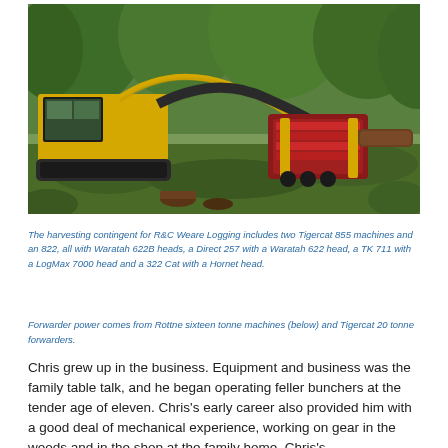[Figure (photo): A forestry harvester machine with a red/grey head attachment gripping a log in a wooded area with green trees in the background. The machine appears to be a track-based feller buncher or harvester in operation.]
The harvesting contingent for R&C Weare Logging includes two Tigercat 855 machines and an 822, all with Waratah 622B heads, a Direct 257 with a Waratah 622 head, a TK 711 with a LogMax 7000 head and a 322 Cat with a Hornet head.
Forwarder power comes from Rottne sixteen tonne machines (below) and Tigercat 20 tonne forwarders.
Chris grew up in the business. Equipment and business was the family table talk, and he began operating feller bunchers at the tender age of eleven. Chris's early career also provided him with a good deal of mechanical experience, working on gear in the woods and in the shop at the family home. Chris's